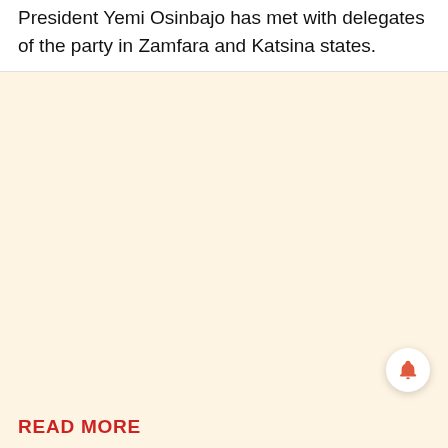President Yemi Osinbajo has met with delegates of the party in Zamfara and Katsina states.
READ MORE